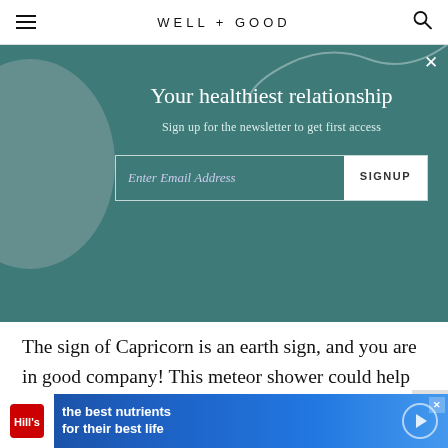WELL + GOOD
[Figure (screenshot): Newsletter signup overlay on teal background with decorative circle and wave. Title: 'Your healthiest relationship'. Subtitle: 'Sign up for the newsletter to get first access'. Input field 'Enter Email Address' with SIGNUP button.]
The sign of Capricorn is an earth sign, and you are in good company! This meteor shower could help you distance yourself from the practical and move more into the realm of ideas and dreams. You will be able to come back to earth and focus on how to implement those ideas in due time. But for now, just be open to
[Figure (infographic): Hill's Pet Nutrition advertisement banner with blue gradient background. Logo on left, text: 'the best nutrients for their best life']